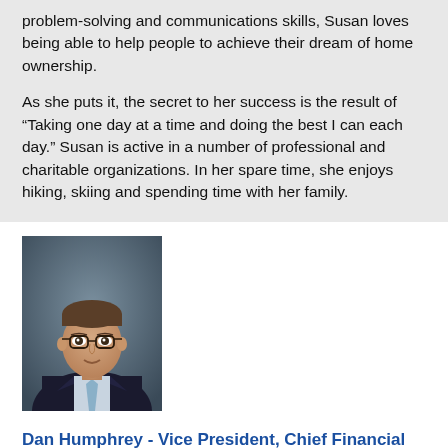problem-solving and communications skills, Susan loves being able to help people to achieve their dream of home ownership.
As she puts it, the secret to her success is the result of “Taking one day at a time and doing the best I can each day.” Susan is active in a number of professional and charitable organizations. In her spare time, she enjoys hiking, skiing and spending time with her family.
[Figure (photo): Professional headshot of Dan Humphrey, a man wearing glasses and a dark suit with a light blue tie, against a gray background.]
Dan Humphrey - Vice President, Chief Financial Officer